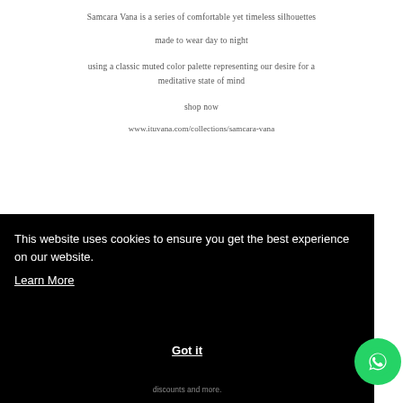Samcara Vana is a series of comfortable yet timeless silhouettes
made to wear day to night
using a classic muted color palette representing our desire for a meditative state of mind
shop now
www.ituvana.com/collections/samcara-vana
This website uses cookies to ensure you get the best experience on our website.
Learn More
Got it
discounts and more.
[Figure (logo): WhatsApp green circular button with phone/chat icon]